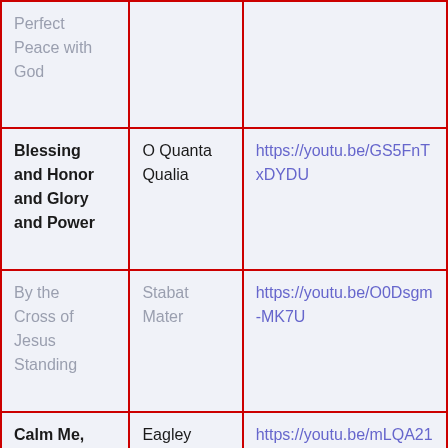| Hymn | Tune | Link |
| --- | --- | --- |
| Perfect Peace with God |  |  |
| Blessing and Honor and Glory and Power | O Quanta Qualia | https://youtu.be/GS5FnTxDYDU |
| By the Cross of Jesus Standing | Stabat Mater | https://youtu.be/O0Dsgm-MK7U |
| Calm Me, My God, And Keep Me Calm | Eagley | https://youtu.be/mLQA216Je44 |